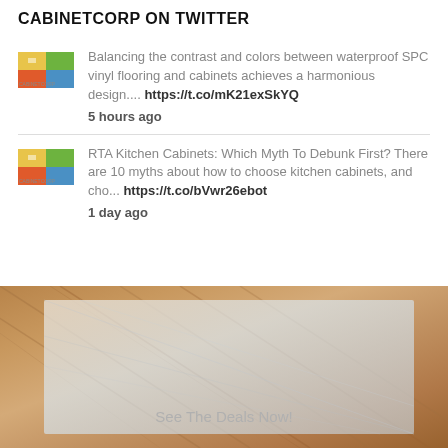CABINETCORP ON TWITTER
Balancing the contrast and colors between waterproof SPC vinyl flooring and cabinets achieves a harmonious design.... https://t.co/mK21exSkYQ
5 hours ago
RTA Kitchen Cabinets: Which Myth To Debunk First? There are 10 myths about how to choose kitchen cabinets, and cho... https://t.co/bVwr26ebot
1 day ago
[Figure (photo): A close-up photo of wood plank flooring in warm brown tones with a light-colored semi-transparent overlay panel. Text 'See The Deals Now!' appears at the bottom center.]